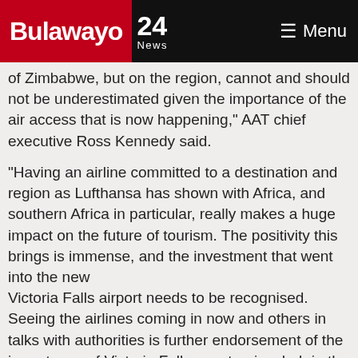Bulawayo 24 News — Menu
of Zimbabwe, but on the region, cannot and should not be underestimated given the importance of the air access that is now happening," AAT chief executive Ross Kennedy said.
"Having an airline committed to a destination and region as Lufthansa has shown with Africa, and southern Africa in particular, really makes a huge impact on the future of tourism. The positivity this brings is immense, and the investment that went into the new Victoria Falls airport needs to be recognised. Seeing the airlines coming in now and others in talks with authorities is further endorsement of the importance of Victoria Falls as a tourism hub in the region," Kennedy said.
An airline influx will transform Victoria Falls into a gateway to the largely under-exposed Kavango Zambezi Transfrontier Conservation Area.